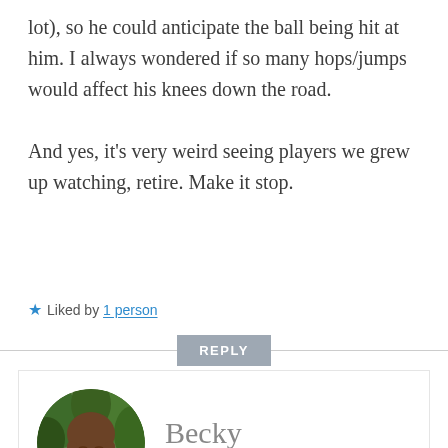lot), so he could anticipate the ball being hit at him. I always wondered if so many hops/jumps would affect his knees down the road.

And yes, it's very weird seeing players we grew up watching, retire. Make it stop.
★ Liked by 1 person
REPLY
[Figure (photo): Circular avatar photo of Becky, a woman with long brown hair wearing a dark sleeveless top, photographed outdoors with trees in the background.]
Becky
FEBRUARY 2, 2021 AT 6:46 PM